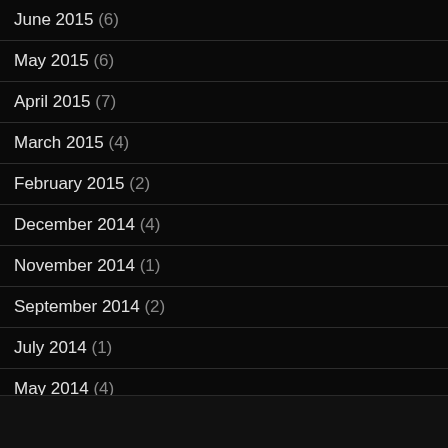June 2015 (6)
May 2015 (6)
April 2015 (7)
March 2015 (4)
February 2015 (2)
December 2014 (4)
November 2014 (1)
September 2014 (2)
July 2014 (1)
May 2014 (4)